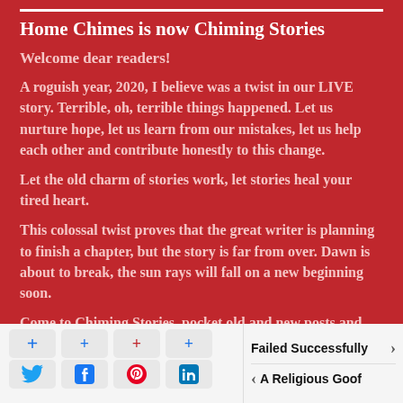Home Chimes is now Chiming Stories
Welcome dear readers!
A roguish year, 2020, I believe was a twist in our LIVE story. Terrible, oh, terrible things happened. Let us nurture hope, let us learn from our mistakes, let us help each other and contribute honestly to this change.
Let the old charm of stories work, let stories heal your tired heart.
This colossal twist proves that the great writer is planning to finish a chapter, but the story is far from over. Dawn is about to break, the sun rays will fall on a new beginning soon.
Come to Chiming Stories, pocket old and new posts and
[Figure (other): Social media share buttons row: Twitter, Facebook, Pinterest, LinkedIn with plus icons above each]
Failed Successfully
A Religious Goof